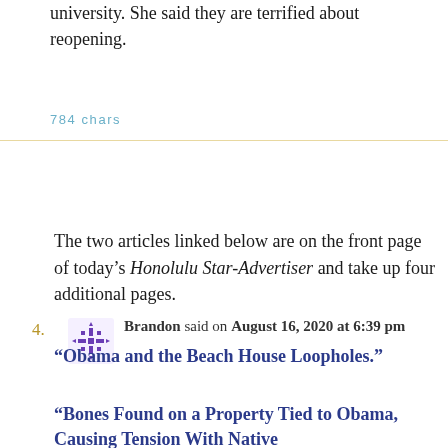university. She said they are terrified about reopening.
784 chars
4. Brandon said on August 16, 2020 at 6:39 pm

The two articles linked below are on the front page of today's Honolulu Star-Advertiser and take up four additional pages.

“Obama and the Beach House Loopholes.”

“Bones Found on a Property Tied to Obama, Causing Tension With Native
The two articles linked below are on the front page of today’s Honolulu Star-Advertiser and take up four additional pages.
“Obama and the Beach House Loopholes.”
“Bones Found on a Property Tied to Obama, Causing Tension With Native